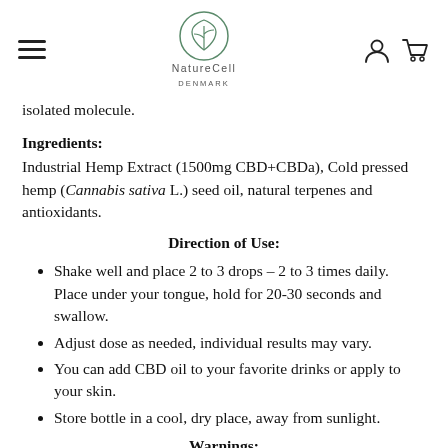NatureCell Denmark — navigation header with logo, hamburger menu, account and cart icons
isolated molecule.
Ingredients:
Industrial Hemp Extract (1500mg CBD+CBDa), Cold pressed hemp (Cannabis sativa L.) seed oil, natural terpenes and antioxidants.
Direction of Use:
Shake well and place 2 to 3 drops – 2 to 3 times daily. Place under your tongue, hold for 20-30 seconds and swallow.
Adjust dose as needed, individual results may vary.
You can add CBD oil to your favorite drinks or apply to your skin.
Store bottle in a cool, dry place, away from sunlight.
Warnings:
See physician prior to use if pregnant or nur
English